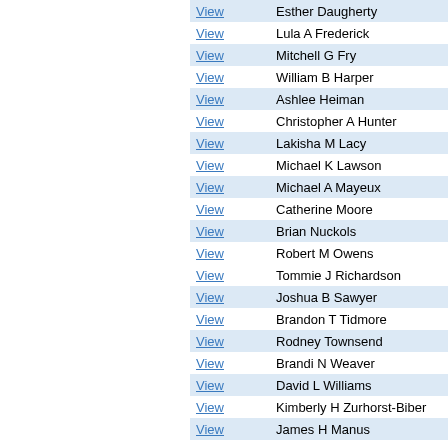| Details | Name |
| --- | --- |
| View | Esther Daugherty |
| View | Lula A Frederick |
| View | Mitchell G Fry |
| View | William B Harper |
| View | Ashlee Heiman |
| View | Christopher A Hunter |
| View | Lakisha M Lacy |
| View | Michael K Lawson |
| View | Michael A Mayeux |
| View | Catherine Moore |
| View | Brian Nuckols |
| View | Robert M Owens |
| View | Tommie J Richardson |
| View | Joshua B Sawyer |
| View | Brandon T Tidmore |
| View | Rodney Townsend |
| View | Brandi N Weaver |
| View | David L Williams |
| View | Kimberly H Zurhorst-Biber |
| View | James H Manus |
COURT NOTICES
| Details | Type |
| --- | --- |
| View | IN THE JUVENILE COURT FOR MONT... |